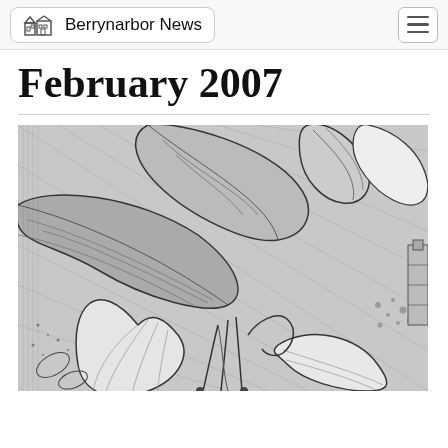Berrynarbor News
February 2007
[Figure (illustration): Black and white detailed pen-and-ink style illustration of lily or crocus flowers with large leaves and petals, showing stamens and botanical detail]